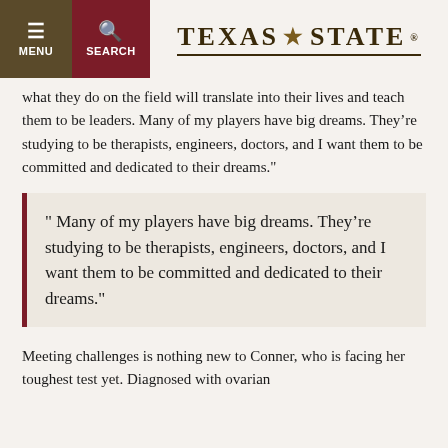MENU | SEARCH | TEXAS STATE
what they do on the field will translate into their lives and teach them to be leaders. Many of my players have big dreams. They’re studying to be therapists, engineers, doctors, and I want them to be committed and dedicated to their dreams."
" Many of my players have big dreams. They’re studying to be therapists, engineers, doctors, and I want them to be committed and dedicated to their dreams."
Meeting challenges is nothing new to Conner, who is facing her toughest test yet. Diagnosed with ovarian